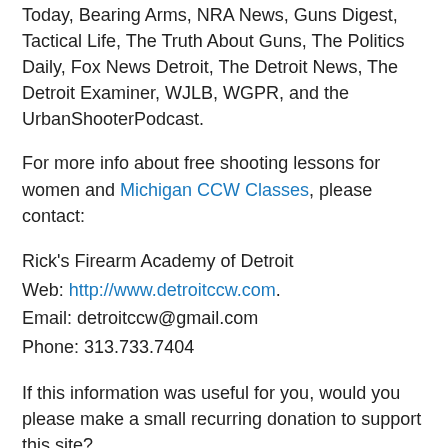Today, Bearing Arms, NRA News, Guns Digest, Tactical Life, The Truth About Guns, The Politics Daily, Fox News Detroit, The Detroit News, The Detroit Examiner, WJLB, WGPR, and the UrbanShooterPodcast.
For more info about free shooting lessons for women and Michigan CCW Classes, please contact:
Rick's Firearm Academy of Detroit
Web: http://www.detroitccw.com.
Email: detroitccw@gmail.com
Phone: 313.733.7404
If this information was useful for you, would you please make a small recurring donation to support this site?
[Figure (other): Dropdown selector showing 'Option 1 : $5.00 USD - monthly' with a Subscribe button and checkbox]
PSA: If you carry a firearm for self-defense, you need to protect yourself by having a membership in a Firearm Legal Program. To see the plan that I belong to, click this link now!